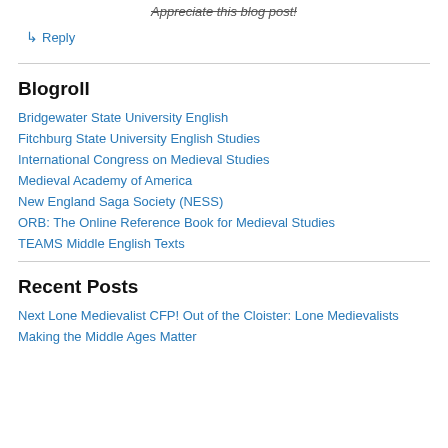Appreciate this blog post!
↳ Reply
Blogroll
Bridgewater State University English
Fitchburg State University English Studies
International Congress on Medieval Studies
Medieval Academy of America
New England Saga Society (NESS)
ORB: The Online Reference Book for Medieval Studies
TEAMS Middle English Texts
Recent Posts
Next Lone Medievalist CFP! Out of the Cloister: Lone Medievalists
Making the Middle Ages Matter